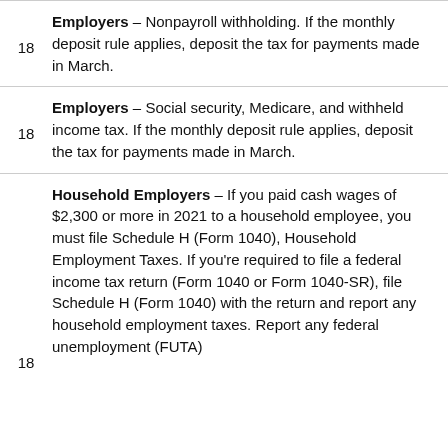18 Employers – Nonpayroll withholding. If the monthly deposit rule applies, deposit the tax for payments made in March.
18 Employers – Social security, Medicare, and withheld income tax. If the monthly deposit rule applies, deposit the tax for payments made in March.
18 Household Employers – If you paid cash wages of $2,300 or more in 2021 to a household employee, you must file Schedule H (Form 1040), Household Employment Taxes. If you're required to file a federal income tax return (Form 1040 or Form 1040-SR), file Schedule H (Form 1040) with the return and report any household employment taxes. Report any federal unemployment (FUTA)